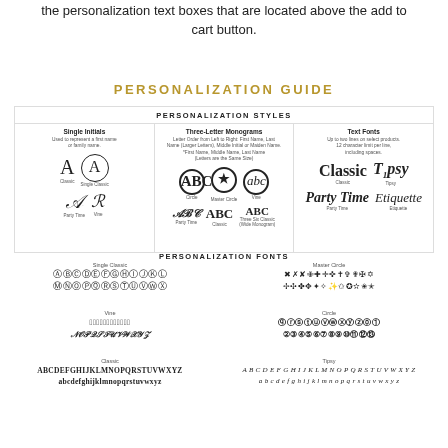the personalization text boxes that are located above the add to cart button.
PERSONALIZATION GUIDE
[Figure (infographic): Personalization Styles chart showing three columns: Single Initials (Classic letter A and Single Classic circled A, Party Time script A and Vine script letter), Three-Letter Monograms (Circle, Master Circle, Vine, Party Time, Classic, Three Six Classic styles with sample monogram glyphs), Text Fonts (Classic and Tipsy text, Party Time and Etiquette fonts).]
PERSONALIZATION FONTS
[Figure (infographic): Personalization Fonts alphabet samples: Single Classic (circular bordered letters A-Z), Master Circle (decorative circular monogram glyphs A-Z), Vine (decorative vine script glyphs A-Z), Circle (decorated circular letter glyphs A-Z), Classic (plain serif uppercase and lowercase alphabet ABCDEFGHIJKLMNOPQRSTUVWXYZ abcdefghijklmnopqrstuvwxyz), Tipsy (italic serif uppercase and lowercase alphabet).]